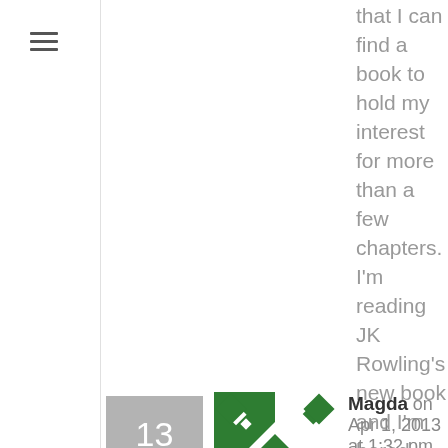that I can find a book to hold my interest for more than a few chapters. I'm reading JK Rowling's new book and I'm bored already. The last book I loved was the Paris Wife.
Magda on Apr 1, 2013 at 1:32 pm   Reply   Like
Thank you Adrienne. I've just finished Kite Runner and I really liked it, somewhere in the middle I felt it was a little bit too predictable, but than it changed a little bit and in total I think it was a really good, interesting book. I put Paris Wife on my to read list. Now I'm reading To kill a mockingbird, as I don't remember if I read it before or no. I struggle a little bit, but I love my